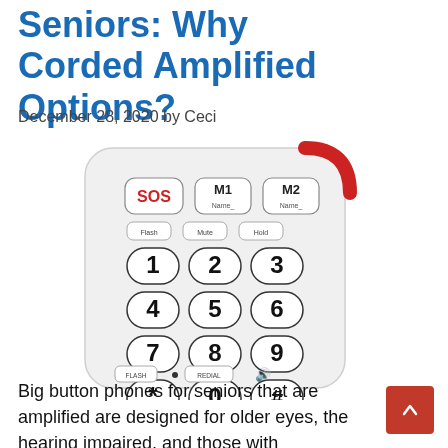Seniors: Why Corded Amplified Options?
December 28, 2020 by Ceci
[Figure (photo): A white corded big-button phone for seniors with large numeric keys (1-9, *, 0, #), SOS button in red text, M1 and M2 memory buttons, Flash, Redial, and speaker buttons, and a red accent on the top corner.]
Big button phones for seniors that are amplified are designed for older eyes, the hearing impaired, and those with...